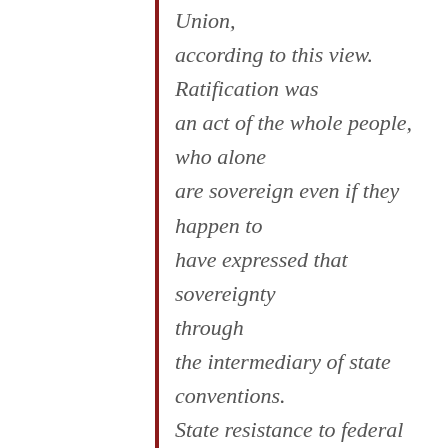Union, according to this view. Ratification was an act of the whole people, who alone are sovereign even if they happen to have expressed that sovereignty through the intermediary of state conventions. State resistance to federal power, according to this reading of the American tradition, can be conceived of only as insubordination. The states are essentially helpless to defend themselves against the federal government, and must instead depend for the maintenance of their liberties